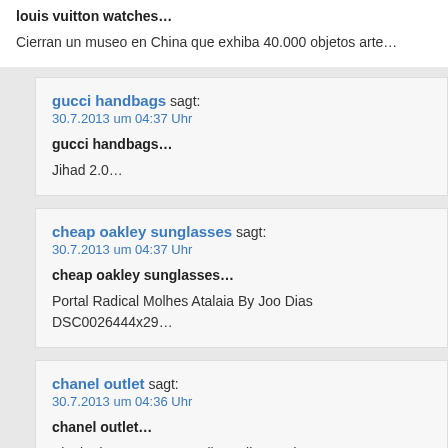louis vuitton watches…
Cierran un museo en China que exhiba 40.000 objetos arte…
gucci handbags sagt: 30.7.2013 um 04:37 Uhr
gucci handbags…
Jihad 2.0…
cheap oakley sunglasses sagt: 30.7.2013 um 04:37 Uhr
cheap oakley sunglasses…
Portal Radical Molhes Atalaia By Joo Dias DSC0026444x29…
chanel outlet sagt: 30.7.2013 um 04:36 Uhr
chanel outlet…
Single des Tages yun Geile Weiber und versaute Frauen na…